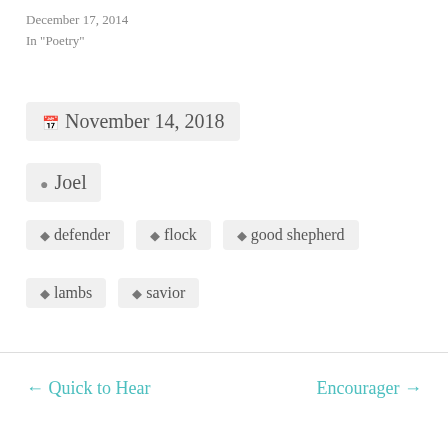December 17, 2014
In "Poetry"
📅 November 14, 2018
👤 Joel
🏷 defender  🏷 flock  🏷 good shepherd
🏷 lambs  🏷 savior
← Quick to Hear
Encourager →